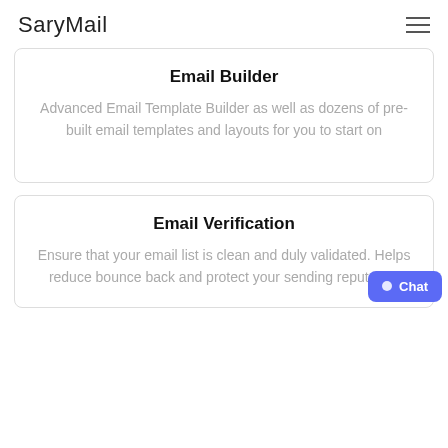SaryMail
Email Builder
Advanced Email Template Builder as well as dozens of pre-built email templates and layouts for you to start on
Email Verification
Ensure that your email list is clean and duly validated. Helps reduce bounce back and protect your sending reputation